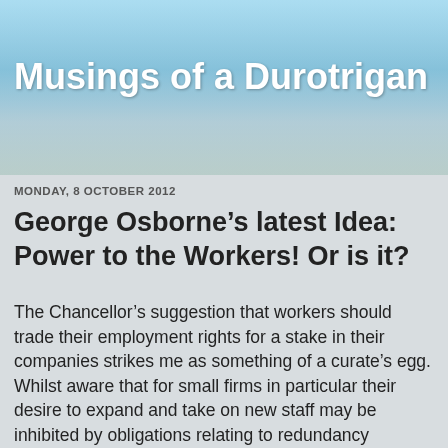[Figure (illustration): Blog header banner with sky background (blue sky with clouds and blurred landscape/trees)]
Musings of a Durotrigan
MONDAY, 8 OCTOBER 2012
George Osborne’s latest Idea: Power to the Workers! Or is it?
The Chancellor’s suggestion that workers should trade their employment rights for a stake in their companies strikes me as something of a curate’s egg. Whilst aware that for small firms in particular their desire to expand and take on new staff may be inhibited by obligations relating to redundancy payments, unfair dismissal and other employment rights, in general these hard won rights need protecting. We are all aware of notorious cases brought for unfair dismissal where such rights have been abused of course, but in most instances, this is legislation that has been designed to protect workers defending their homes and their families...